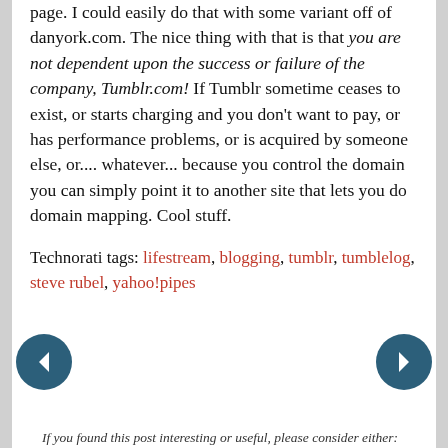page. I could easily do that with some variant off of danyork.com. The nice thing with that is that you are not dependent upon the success or failure of the company, Tumblr.com! If Tumblr sometime ceases to exist, or starts charging and you don't want to pay, or has performance problems, or is acquired by someone else, or.... whatever... because you control the domain you can simply point it to another site that lets you do domain mapping. Cool stuff.
Technorati tags: lifestream, blogging, tumblr, tumblelog, steve rubel, yahoo!pipes
If you found this post interesting or useful, please consider either: